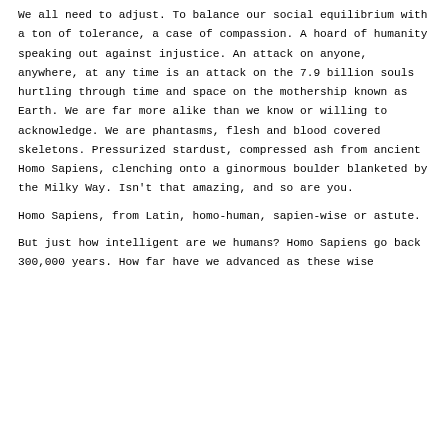We all need to adjust. To balance our social equilibrium with a ton of tolerance, a case of compassion. A hoard of humanity speaking out against injustice. An attack on anyone, anywhere, at any time is an attack on the 7.9 billion souls hurtling through time and space on the mothership known as Earth. We are far more alike than we know or willing to acknowledge. We are phantasms, flesh and blood covered skeletons. Pressurized stardust, compressed ash from ancient Homo Sapiens, clenching onto a ginormous boulder blanketed by the Milky Way. Isn't that amazing, and so are you.
Homo Sapiens, from Latin, homo-human, sapien-wise or astute.
But just how intelligent are we humans? Homo Sapiens go back 300,000 years. How far have we advanced as these wise...